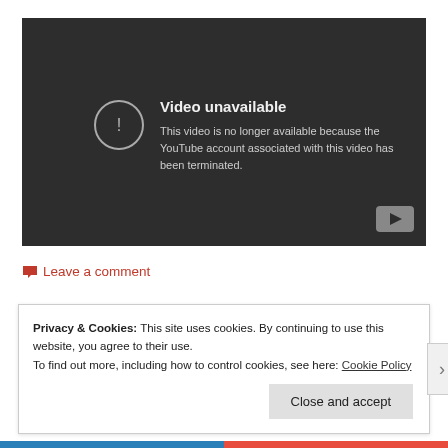[Figure (screenshot): YouTube video embed showing 'Video unavailable' error message: 'This video is no longer available because the YouTube account associated with this video has been terminated.' Dark grey background with circular warning icon and YouTube logo in bottom right.]
🗨 Leave a comment
Privacy & Cookies: This site uses cookies. By continuing to use this website, you agree to their use. To find out more, including how to control cookies, see here: Cookie Policy